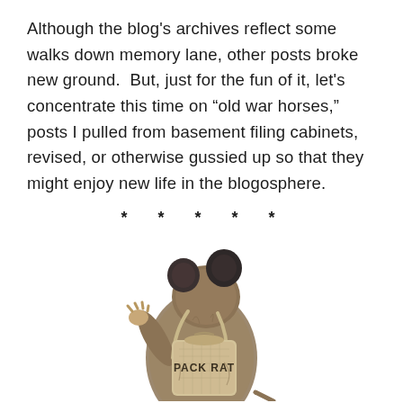Although the blog's archives reflect some walks down memory lane, other posts broke new ground.  But, just for the fun of it, let's concentrate this time on “old war horses,” posts I pulled from basement filing cabinets, revised, or otherwise gussied up so that they might enjoy new life in the blogosphere.
* * * * *
[Figure (photo): A stuffed toy rat (pack rat) seen from behind, wearing a small burlap sack backpack labeled 'PACK RAT', with one arm raised as if waving, standing on a white background.]